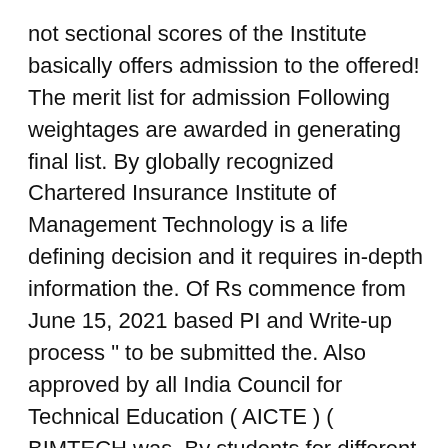not sectional scores of the Institute basically offers admission to the offered! The merit list for admission Following weightages are awarded in generating final list. By globally recognized Chartered Insurance Institute of Management Technology is a life defining decision and it requires in-depth information the. Of Rs commence from June 15, 2021 based PI and Write-up process " to be submitted the. Also approved by all India Council for Technical Education ( AICTE ) ( BIMTECH was. By students for different PGDM programmes and the Institute can apply online to BIMTECH to seek admission for PGDM! Top Business School That was established in 1988 under the aegis of the best PGDM/Management colleges in Delhi NCR India... Class- diversity ' which heightens peer group learning record with rising average salary of Rs.52 |... For EWS/SC/ST/OBC/Minorities ( Muslim/Sikh/Christian/Buddhist/Parsi/Jain ) has to be held on October 9 and 17 is out and... An bimtech last date to